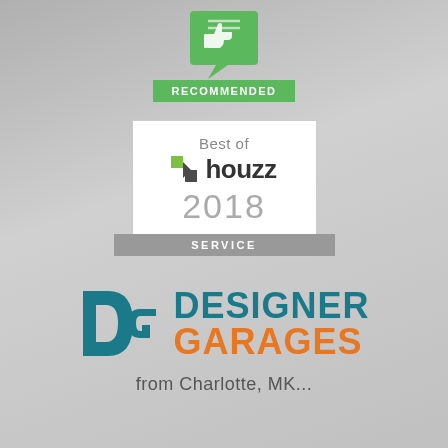[Figure (logo): Green 'Recommended' badge with thumbs-up icon in a speech bubble, green background label reading RECOMMENDED]
[Figure (logo): Best of Houzz 2018 SERVICE award badge, white background with grey border, Houzz logo with green/dark chevron icon, grey SERVICE banner at bottom]
[Figure (logo): Designer Garages logo: large DG monogram in teal, DESIGNER in teal bold uppercase, GARAGES in orange bold uppercase]
from Charlotte, MK...